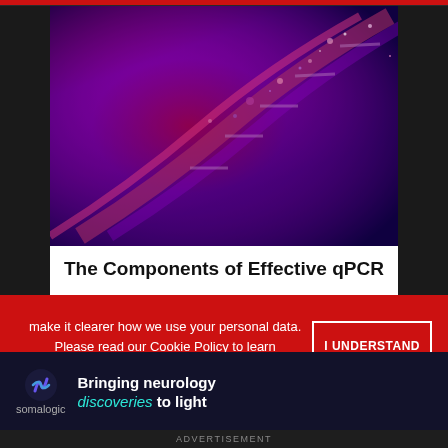[Figure (photo): Close-up microscopic image of DNA helix structure with purple and red hues]
The Components of Effective qPCR
eBooks
[Figure (logo): Bio-Rad logo in green pill-shaped badge with white text BIO-RAD]
make it clearer how we use your personal data. Please read our Cookie Policy to learn how we use cookies to provide you
I UNDERSTAND
[Figure (logo): Somalogic logo with swirl icon]
Bringing neurology discoveries to light
ADVERTISEMENT